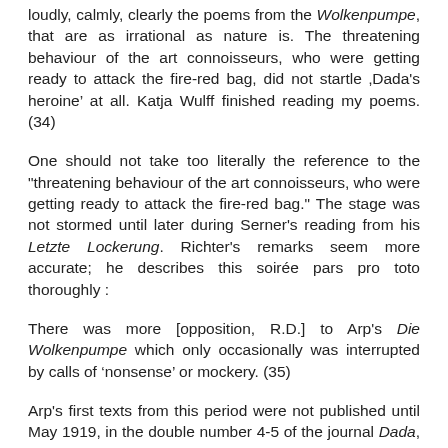loudly, calmly, clearly the poems from the Wolkenpumpe, that are as irrational as nature is. The threatening behaviour of the art connoisseurs, who were getting ready to attack the fire-red bag, did not startle 'Dada's heroine' at all. Katja Wulff finished reading my poems. (34)
One should not take too literally the reference to the "threatening behaviour of the art connoisseurs, who were getting ready to attack the fire-red bag." The stage was not stormed until later during Serner's reading from his Letzte Lockerung. Richter's remarks seem more accurate; he describes this soirée pars pro toto thoroughly :
There was more [opposition, R.D.] to Arp's Die Wolkenpumpe which only occasionally was interrupted by calls of 'nonsense' or mockery. (35)
Arp's first texts from this period were not published until May 1919, in the double number 4-5 of the journal Dada, the so-called Dada Anthology, which was edited by Tzara. It includes twelve texts by Arp in linear script (with one exception) under the title aus . die wolkenpumpe and a short